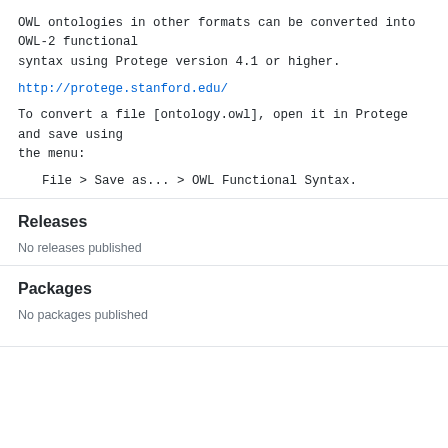OWL ontologies in other formats can be converted into OWL-2 functional syntax using Protege version 4.1 or higher.
http://protege.stanford.edu/
To convert a file [ontology.owl], open it in Protege and save using the menu:
File > Save as... > OWL Functional Syntax.
Releases
No releases published
Packages
No packages published